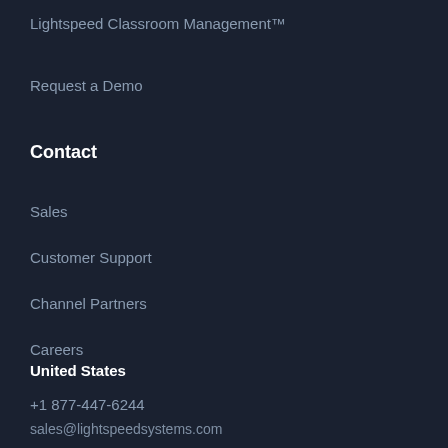Lightspeed Classroom Management™
Request a Demo
Contact
Sales
Customer Support
Channel Partners
Careers
United States
+1 877-447-6244
sales@lightspeedsystems.com
Europe
+44 (0) 20 4534 5200
Asia Pacific